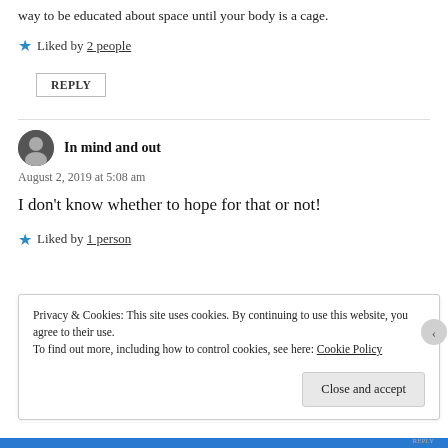way to be educated about space until your body is a cage.
★ Liked by 2 people
REPLY
In mind and out
August 2, 2019 at 5:08 am
I don't know whether to hope for that or not!
★ Liked by 1 person
Privacy & Cookies: This site uses cookies. By continuing to use this website, you agree to their use. To find out more, including how to control cookies, see here: Cookie Policy
Close and accept